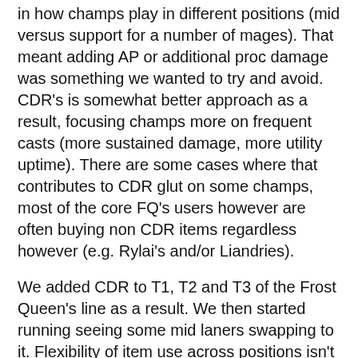in how champs play in different positions (mid versus support for a number of mages). That meant adding AP or additional proc damage was something we wanted to try and avoid. CDR's is somewhat better approach as a result, focusing champs more on frequent casts (more sustained damage, more utility uptime). There are some cases where that contributes to CDR glut on some champs, most of the core FQ's users however are often buying non CDR items regardless however (e.g. Rylai's and/or Liandries).
We added CDR to T1, T2 and T3 of the Frost Queen's line as a result. We then started running seeing some mid laners swapping to it. Flexibility of item use across positions isn't in and of itself a problem, in this case it looked like it was at risk of making some champs (e.g. Cass) potentially too dominant. We made some late changes to FQ's as a result, uping the CD on minion kills by a couple of seconds and changing it so it gets extra CDR at T2 (now 10%), but doesn't increase further at T3. Intent there is that it's a better choice for supports building it and then going for other items, without pushing it to T3, without being too warping if picked up by others. Making it a support item that you're happier leaving at T2 also then